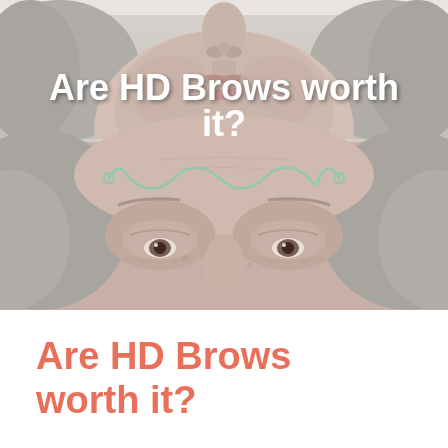[Figure (photo): Close-up photo of an elderly woman's face in two sections. Top section shows lower face/mouth area, bottom section shows the forehead and eyes area with a decorative wavy line SVG overlay. Bold white text overlaid on the photo reads 'Are HD Brows worth it?']
Are HD Brows worth it?